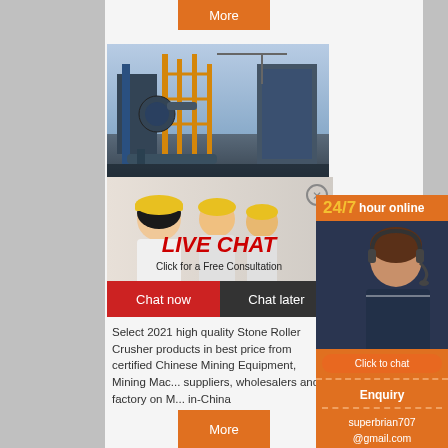[Figure (other): Orange 'More' button at top center]
[Figure (photo): Industrial facility with scaffolding and machinery]
[Figure (other): Live chat overlay with workers in hard hats, LIVE CHAT title in red, 'Click for a Free Consultation' subtitle, close button, Chat now and Chat later buttons]
[Figure (other): Right sidebar: 24/7 hour online orange banner, customer service agent photo, Click to chat button, Enquiry box with email superbrian707@gmail.com]
Select 2021 high quality Stone Roller Crusher products in best price from certified Chinese Mining Equipment, Mining Mac... suppliers, wholesalers and factory on M... in-China
[Figure (other): Orange 'More' button at bottom center]